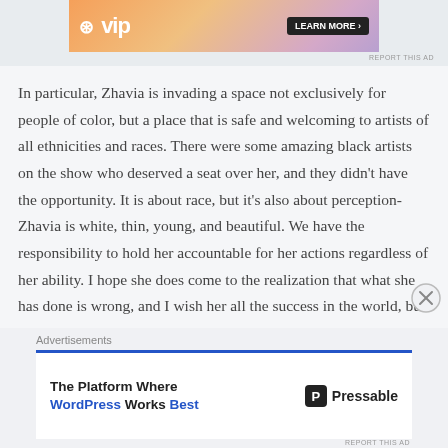[Figure (screenshot): Top advertisement banner with WordPress VIP logo on gradient orange-pink background with a dark Learn More button]
In particular, Zhavia is invading a space not exclusively for people of color, but a place that is safe and welcoming to artists of all ethnicities and races. There were some amazing black artists on the show who deserved a seat over her, and they didn't have the opportunity. It is about race, but it's also about perception- Zhavia is white, thin, young, and beautiful. We have the responsibility to hold her accountable for her actions regardless of her ability. I hope she does come to the realization that what she has done is wrong, and I wish her all the success in the world, but not at the expense of other equally talented artists.
Advertisements
[Figure (screenshot): Bottom advertisement: The Platform Where WordPress Works Best — Pressable logo]